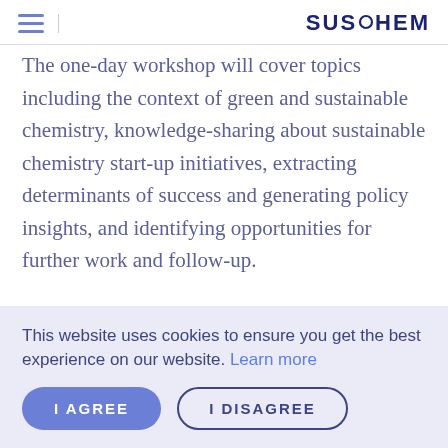SusChem
The one-day workshop will cover topics including the context of green and sustainable chemistry, knowledge-sharing about sustainable chemistry start-up initiatives, extracting determinants of success and generating policy insights, and identifying opportunities for further work and follow-up.
This website uses cookies to ensure you get the best experience on our website. Learn more
I AGREE | I DISAGREE